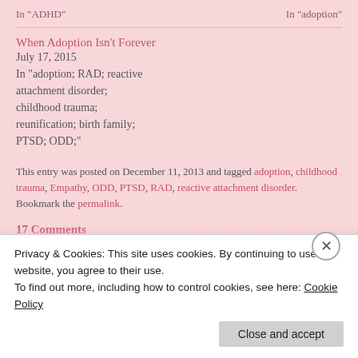In "ADHD"    In "adoption"
When Adoption Isn't Forever
July 17, 2015
In "adoption; RAD; reactive attachment disorder; childhood trauma; reunification; birth family; PTSD; ODD;"
This entry was posted on December 11, 2013 and tagged adoption, childhood trauma, Empathy, ODD, PTSD, RAD, reactive attachment disorder. Bookmark the permalink.
17 Comments
Privacy & Cookies: This site uses cookies. By continuing to use this website, you agree to their use.
To find out more, including how to control cookies, see here: Cookie Policy